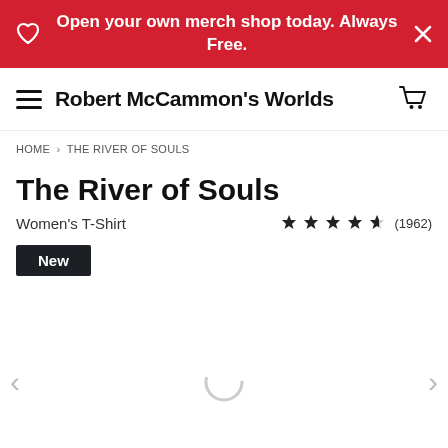Open your own merch shop today. Always Free.
Robert McCammon's Worlds
HOME > THE RIVER OF SOULS
The River of Souls
Women's T-Shirt  ★★★★½ (1962)
New
[Figure (other): Product image loading spinner with left and right navigation arrows]